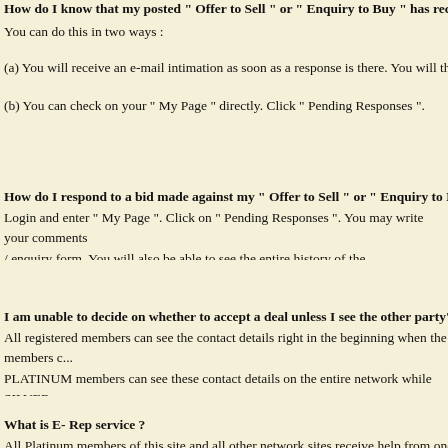How do I know that my posted " Offer to Sell " or " Enquiry to Buy " has received a re...
You can do this in two ways :
(a) You will receive an e-mail intimation as soon as a response is there. You will then enter yo...
(b) You can check on your " My Page " directly. Click " Pending Responses ".
How do I respond to a bid made against my " Offer to Sell " or " Enquiry to Buy " ?
Login and enter " My Page ". Click on " Pending Responses ". You may write your comments / enquiry form. You will also be able to see the entire history of the correspondence you have...
I am unable to decide on whether to accept a deal unless I see the other party's full conta...
All registered members can see the contact details right in the beginning when the members c... PLATINUM members can see these contact details on the entire network while SILVER mem... registered.
What is E- Rep service ?
All Platinum members of this site and all other network sites receive help from one of the t...